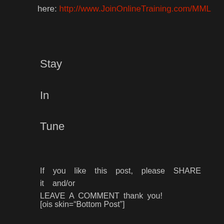here: http://www.JoinOnlineTraining.com/MML
Stay
In
Tune
If you like this post, please SHARE it and/or LEAVE A COMMENT thank you!
[ois skin="Bottom Post"]